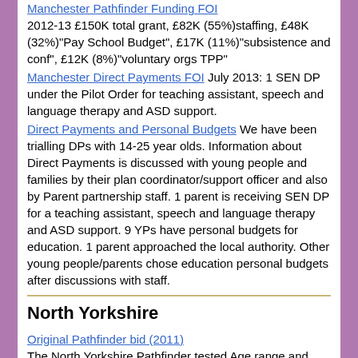Manchester Pathfinder Funding FOI
2012-13 £150K total grant, £82K (55%)staffing, £48K (32%)"Pay School Budget", £17K (11%)"subsistence and conf", £12K (8%)"voluntary orgs TPP"
Manchester Direct Payments FOI July 2013: 1 SEN DP under the Pilot Order for teaching assistant, speech and language therapy and ASD support.
Direct Payments and Personal Budgets We have been trialling DPs with 14-25 year olds. Information about Direct Payments is discussed with young people and families by their plan coordinator/support officer and also by Parent partnership staff. 1 parent is receiving SEN DP for a teaching assistant, speech and language therapy and ASD support. 9 YPs have personal budgets for education. 1 parent approached the local authority. Other young people/parents chose education personal budgets after discussions with staff.
North Yorkshire
Original Pathfinder bid (2011)
The North Yorkshire Pathfinder tested Age range and employment
Dedicated website
North Yorkshire Pathfinder Funding FOI
2012-13 £150K total grant, £63K (42%)staffing costs; £43K (29%)staffing costs health; [total staff costs £106K (71%); £10K (7%)IT; £10K (7%)venue hire for public meetings and consultations; £5.5K (4%)In Control annual membership fee.
North Yorkshire Direct Payments FOI July 2013. (i) the number of direct payments for special educational needs granted under